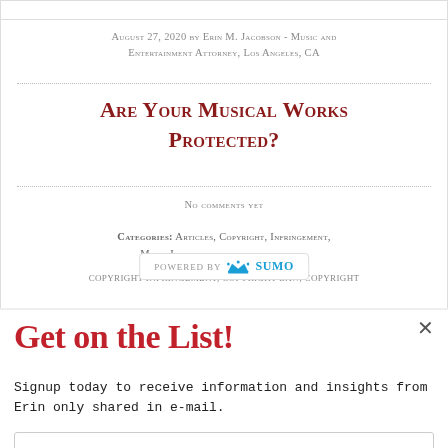August 27, 2020 by Erin M. Jacobson - Music and Entertainment Attorney, Los Angeles, CA
Are Your Musical Works Protected?
No comments yet
Categories: Articles, Copyright, Infringement, Music Industry, copyright, copyright infringement, copyright law, copyright
[Figure (logo): Powered by Sumo badge with crown logo]
Get on the List!
Signup today to receive information and insights from Erin only shared in e-mail.
Enter your email address
Put me on the list!